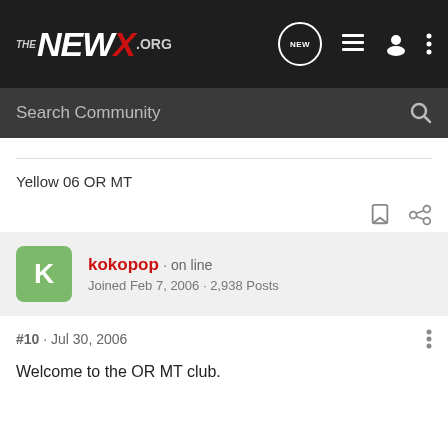THE NEWX.ORG
Search Community
Yellow 06 OR MT
kokopop · on line
Joined Feb 7, 2006 · 2,938 Posts
#10 · Jul 30, 2006
Welcome to the OR MT club.